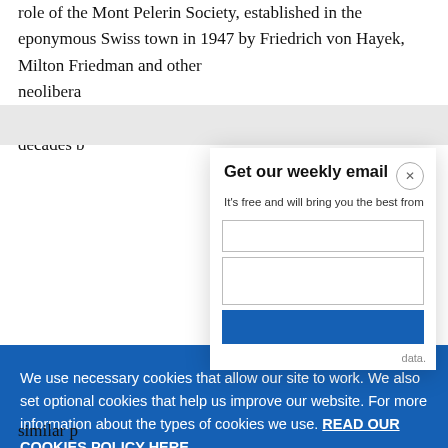role of the Mont Pelerin Society, established in the eponymous Swiss town in 1947 by Friedrich von Hayek, Milton Friedman and other neolibera... Neolibera... decades b...
Get our weekly email
It's free and will bring you the best from
We use necessary cookies that allow our site to work. We also set optional cookies that help us improve our website. For more information about the types of cookies we use. READ OUR COOKIES POLICY HERE
COOKIE SETTINGS
ALLOW ALL COOKIES
data.
similar p...